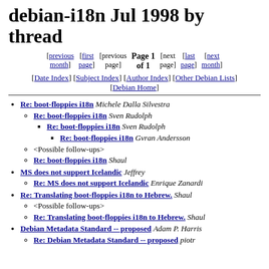debian-i18n Jul 1998 by thread
Page 1 of 1
[previous month] [first page] [previous page] [next page] [last page] [next month]
[Date Index] [Subject Index] [Author Index] [Other Debian Lists] [Debian Home]
Re: boot-floppies i18n  Michele Dalla Silvestra
Re: boot-floppies i18n  Sven Rudolph
Re: boot-floppies i18n  Sven Rudolph
Re: boot-floppies i18n  Gvran Andersson
<Possible follow-ups>
Re: boot-floppies i18n  Shaul
MS does not support Icelandic  Jeffrey
Re: MS does not support Icelandic  Enrique Zanardi
Re: Translating boot-floppies i18n to Hebrew.  Shaul
<Possible follow-ups>
Re: Translating boot-floppies i18n to Hebrew.  Shaul
Debian Metadata Standard -- proposed  Adam P. Harris
Re: Debian Metadata Standard -- proposed  piotr